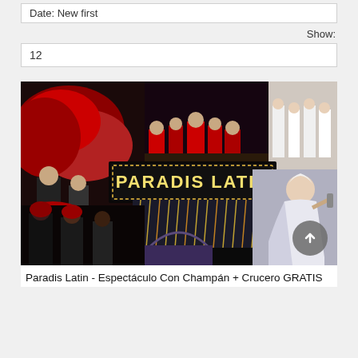Date: New first
Show:
12
[Figure (photo): Paradis Latin cabaret show collage with performers in red feathers, red costumes, white costumes, and a central illuminated PARADIS LATIN sign with a female performer in white to the right]
Paradis Latin - Espectáculo Con Champán + Crucero GRATIS